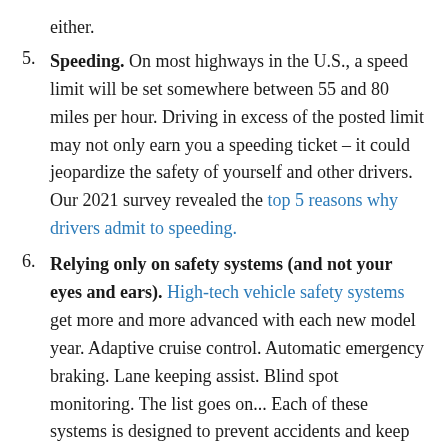either.
5. Speeding. On most highways in the U.S., a speed limit will be set somewhere between 55 and 80 miles per hour. Driving in excess of the posted limit may not only earn you a speeding ticket – it could jeopardize the safety of yourself and other drivers. Our 2021 survey revealed the top 5 reasons why drivers admit to speeding.
6. Relying only on safety systems (and not your eyes and ears). High-tech vehicle safety systems get more and more advanced with each new model year. Adaptive cruise control. Automatic emergency braking. Lane keeping assist. Blind spot monitoring. The list goes on... Each of these systems is designed to prevent accidents and keep drivers safe. And for the